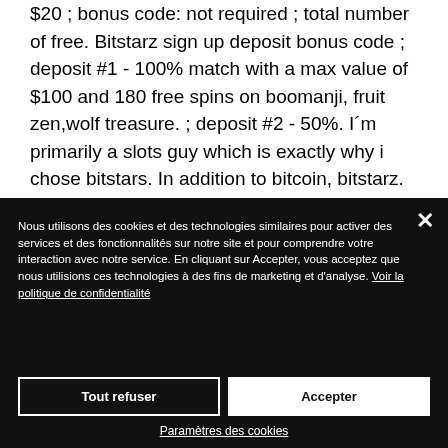$20 ; bonus code: not required ; total number of free. Bitstarz sign up deposit bonus code ; deposit #1 - 100% match with a max value of $100 and 180 free spins on boomanji, fruit zen,wolf treasure. ; deposit #2 - 50%. I´m primarily a slots guy which is exactly why i chose bitstars. In addition to bitcoin, bitstarz. Com is also the first bitcoin gaming site that allows deposits in real money currency. They offer deposit options in euros. Sign up at
Nous utilisons des cookies et des technologies similaires pour activer des services et des fonctionnalités sur notre site et pour comprendre votre interaction avec notre service. En cliquant sur Accepter, vous acceptez que nous utilisions ces technologies à des fins de marketing et d'analyse. Voir la politique de confidentialité
Tout refuser
Accepter
Paramètres des cookies